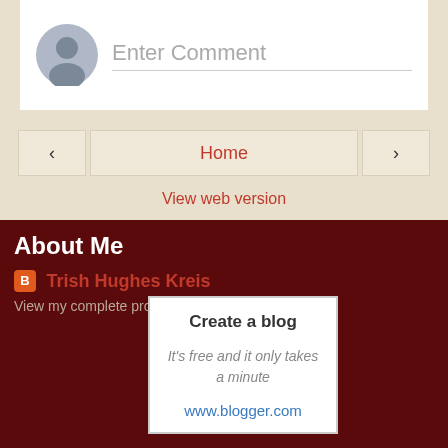[Figure (screenshot): Comment input box with avatar placeholder and 'Enter Comment' placeholder text]
[Figure (screenshot): Navigation bar with left arrow button, Home button, and right arrow button]
View web version
About Me
Trish Hughes Kreis
View my complete profile
[Figure (infographic): Create a blog promo box: It's free and it only takes a minute. www.blogger.com]